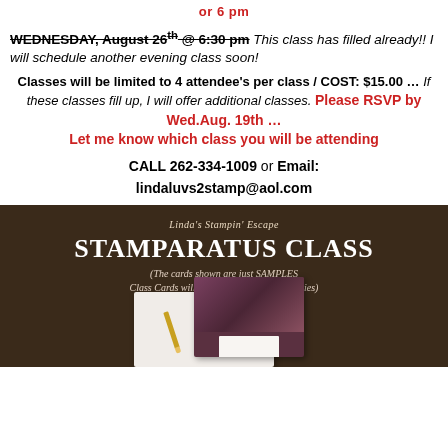or 6 pm
WEDNESDAY, August 26th @ 6:30 pm This class has filled already!! I will schedule another evening class soon!
Classes will be limited to 4 attendee's per class / COST: $15.00 … If these classes fill up, I will offer additional classes. Please RSVP by Wed.Aug. 19th … Let me know which class you will be attending
CALL 262-334-1009 or Email: lindaluvs2stamp@aol.com
[Figure (photo): Dark wood background with text overlay: Linda's Stampin' Escape, STAMPARATUS CLASS, (The cards shown are just SAMPLES Class Cards will be using CURRENT Supplies). Decorative greeting cards visible in lower portion.]